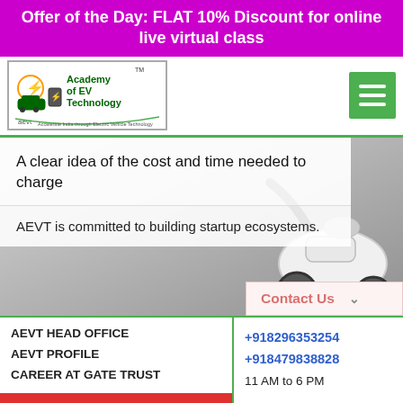Offer of the Day: FLAT 10% Discount for online live virtual class
[Figure (logo): Academy of EV Technology (AEVT) logo with car and lightning bolt icon]
A clear idea of the cost and time needed to charge
AEVT is committed to building startup ecosystems.
[Figure (photo): Electric vehicle charging cable and EV scooter in grayscale background]
Contact Us
AEVT HEAD OFFICE
AEVT PROFILE
CAREER AT GATE TRUST
Become Training Partner
AEVT AFFILIATION & REGISTRATION
+918296353254
+918479838828
11 AM to 6 PM